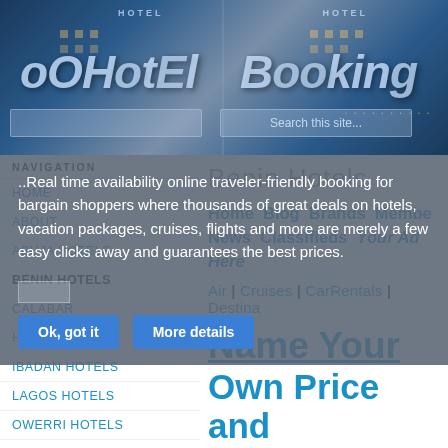[Figure (screenshot): Hotel booking website header banner with dark blue overlay showing hotel building images and 'oOHotel Booking' branding text]
..Real time availability online traveler-friendly booking for bargain shoppers where thousands of great deals on hotels, vacation packages, cruises, flights and more are merely a few easy clicks away and guarantees the best prices.
Ok, got it
More details
NAVIGATION
HOME
ABOUT
ABUJA HOTELS
BENIN HOTELS
CALABAR
HILTON HOTELS
IBADAN HOTELS
LAGOS HOTELS
OWERRI HOTELS
Benin Hotels
Home  Blog  Brands  Members  News  Classifieds  Your Ad Here
Air | Cruises | CarRentals | Destinations
Name Your Own Price and